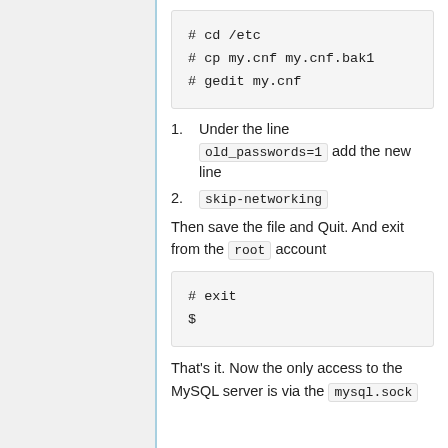[Figure (screenshot): Left navigation panel with light blue vertical border line]
# cd /etc
# cp my.cnf my.cnf.bak1
# gedit my.cnf
1. Under the line old_passwords=1 add the new line
2. skip-networking
Then save the file and Quit. And exit from the root account
# exit
$
That's it. Now the only access to the MySQL server is via the mysql.sock